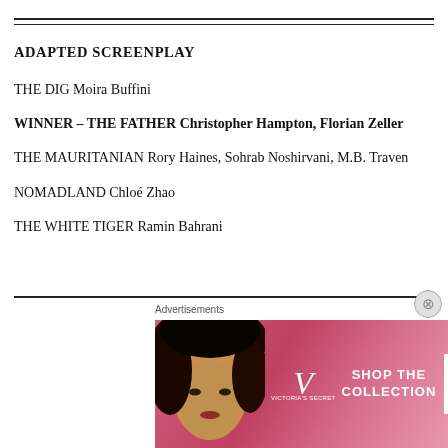ADAPTED SCREENPLAY
THE DIG Moira Buffini
WINNER – THE FATHER Christopher Hampton, Florian Zeller
THE MAURITANIAN Rory Haines, Sohrab Noshirvani, M.B. Traven
NOMADLAND Chloé Zhao
THE WHITE TIGER Ramin Bahrani
LEADING ACTRESS
BUKKY BAKRAY Rocks
[Figure (photo): Victoria's Secret advertisement banner showing a woman with curly hair and the text SHOP THE COLLECTION / SHOP NOW]